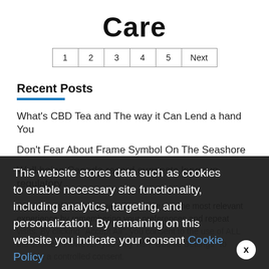Care
1  2  3  4  5  Next
Recent Posts
What's CBD Tea and The way it Can Lend a hand You
Don't Fear About Frame Symbol On The Seashore
Well being Canada record suggests long run regulatory
We use cookies on our website to give you the most relevant experience by remembering your preferences and repeat visits. By clicking "Accept All", you consent to the use of ALL the cookies. However, you may visit "Cookie Settings" to provide a controlled consent.
This website stores data such as cookies to enable necessary site functionality, including analytics, targeting, and personalization. By remaining on this website you indicate your consent Cookie Policy